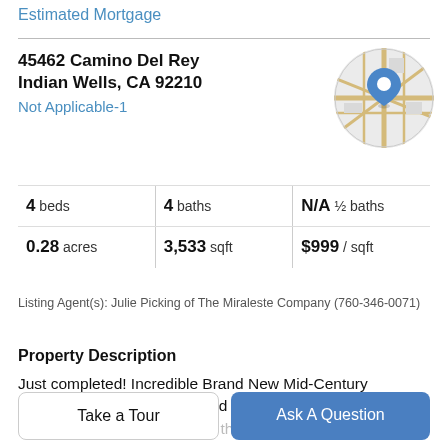Estimated Mortgage
45462 Camino Del Rey
Indian Wells, CA 92210
Not Applicable-1
[Figure (map): Circular map thumbnail showing a street map with a blue location pin marker in the center, roads visible in gold/yellow on light gray background.]
|  |  |  |
| --- | --- | --- |
| 4 beds | 4 baths | N/A ½ baths |
| 0.28 acres | 3,533 sqft | $999 / sqft |
Listing Agent(s): Julie Picking of The Miraleste Company (760-346-0071)
Property Description
Just completed! Incredible Brand New Mid-Century MODERN home designed and built by local builder Mark Picking. Please keep in mind this is a NEW HOME on a